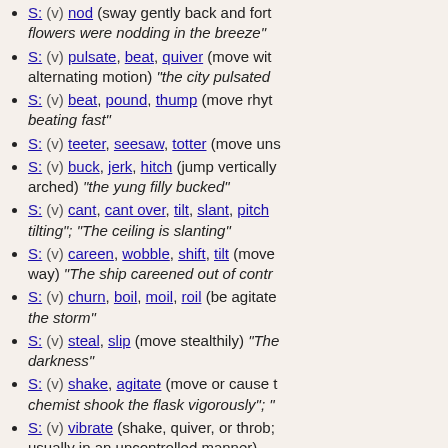S: (v) nod (sway gently back and forth; "flowers were nodding in the breeze")
S: (v) pulsate, beat, quiver (move with alternating motion) "the city pulsated..."
S: (v) beat, pound, thump (move rhythmically) "...beating fast"
S: (v) teeter, seesaw, totter (move uns...)
S: (v) buck, jerk, hitch (jump vertically, with arched) "the yung filly bucked"
S: (v) cant, cant over, tilt, slant, pitch (tilting"; "The ceiling is slanting"
S: (v) careen, wobble, shift, tilt (move way) "The ship careened out of contro..."
S: (v) churn, boil, moil, roil (be agitate... the storm"
S: (v) steal, slip (move stealthily) "The... darkness"
S: (v) shake, agitate (move or cause t... chemist shook the flask vigorously"; "..."
S: (v) vibrate (shake, quiver, or throb; usually in an uncontrolled manner)
S: (v) jerk, twitch (move with abrupt, s... motions) "The patient's legs were jerk..."
S: (v) flip, twitch (toss with a sharp mo... over in the air)